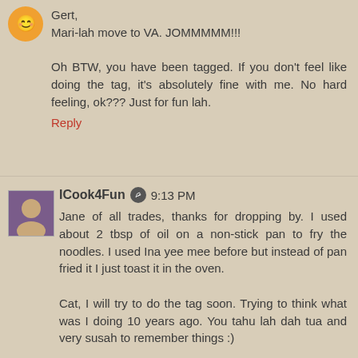Gert,
Mari-lah move to VA. JOMMMMM!!!

Oh BTW, you have been tagged. If you don't feel like doing the tag, it's absolutely fine with me. No hard feeling, ok??? Just for fun lah.
Reply
ICook4Fun  9:13 PM
Jane of all trades, thanks for dropping by. I used about 2 tbsp of oil on a non-stick pan to fry the noodles. I used Ina yee mee before but instead of pan fried it I just toast it in the oven.

Cat, I will try to do the tag soon. Trying to think what was I doing 10 years ago. You tahu lah dah tua and very susah to remember things :)
Reply